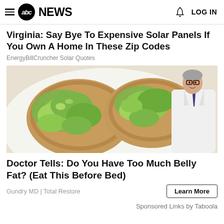abc NEWS  LOG IN
Virginia: Say Bye To Expensive Solar Panels If You Own A Home In These Zip Codes
EnergyBillCruncher Solar Quotes
[Figure (photo): Photo of two slices of toast topped with sliced avocado on a white plate, with an older male doctor in a white coat standing with arms crossed on the right side of the image.]
Doctor Tells: Do You Have Too Much Belly Fat? (Eat This Before Bed)
Gundry MD | Total Restore
Learn More
Sponsored Links by Taboola